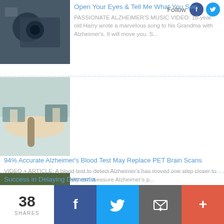[Figure (photo): Person with camera/filming equipment, top left thumbnail]
[Figure (other): Follow button with Facebook and Twitter icons, top right]
Open Your Eyes & Tell Me What You See
PASSIONATE ALZHEIMER'S MUSIC VIDEO: 16-year old Harry wrote a marvelous song to his Grandma with Alzheimer's. It will move you. S...
[Figure (photo): Medical blood draw / blood test thumbnail image]
94% Accurate Alzheimer's Blood Test May Replace PET Brain Scans
VIDEO + ARTICLE: A blood test to detect Alzheimer's has moved one step closer to reality. Washington University can measure Alzheimer's p...
[Figure (photo): Building exterior with orange banners thumbnail]
Success in Delaying Dementia
PROGRESS: A key study shows an easing, in certain respects, of the
[Figure (infographic): Bottom share bar: 38 SHARES, Facebook, Twitter, Email, More buttons]